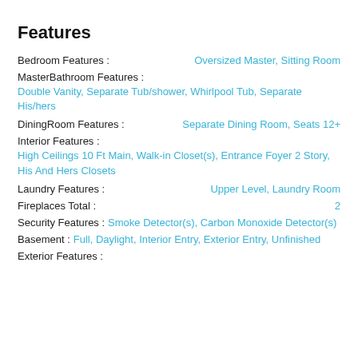Features
Bedroom Features : Oversized Master, Sitting Room
MasterBathroom Features :
Double Vanity, Separate Tub/shower, Whirlpool Tub, Separate His/hers
DiningRoom Features : Separate Dining Room, Seats 12+
Interior Features :
High Ceilings 10 Ft Main, Walk-in Closet(s), Entrance Foyer 2 Story, His And Hers Closets
Laundry Features : Upper Level, Laundry Room
Fireplaces Total : 2
Security Features : Smoke Detector(s), Carbon Monoxide Detector(s)
Basement : Full, Daylight, Interior Entry, Exterior Entry, Unfinished
Exterior Features :